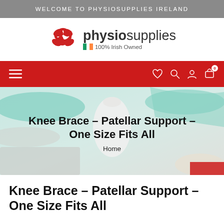WELCOME TO PHYSIOSUPPLIES IRELAND
[Figure (logo): PhysioSupplies logo with red infinity-knot emblem, text 'physiosupplies' and '100% Irish Owned' with Irish flag]
[Figure (screenshot): Red navigation bar with hamburger menu icon on left and heart, search, user, and cart (0) icons on right]
[Figure (photo): Hero banner showing medical supplies (face masks, sanitizer, gloves) with overlay title 'Knee Brace - Patellar Support - One Size Fits All' and breadcrumb 'Home']
Knee Brace - Patellar Support - One Size Fits All